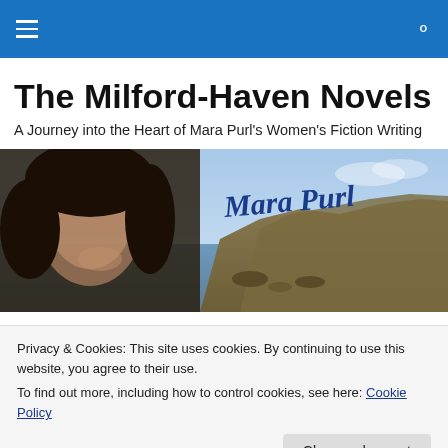The Milford-Haven Novels
A Journey into the Heart of Mara Purl's Women's Fiction Writing
[Figure (photo): Banner image showing author Mara Purl – a woman with dark curly hair resting chin on hand – overlaid with cursive text 'Mara Purl', against a coastal California landscape background with cliffs, ocean, and sky.]
Privacy & Cookies: This site uses cookies. By continuing to use this website, you agree to their use.
To find out more, including how to control cookies, see here: Cookie Policy
Close and accept